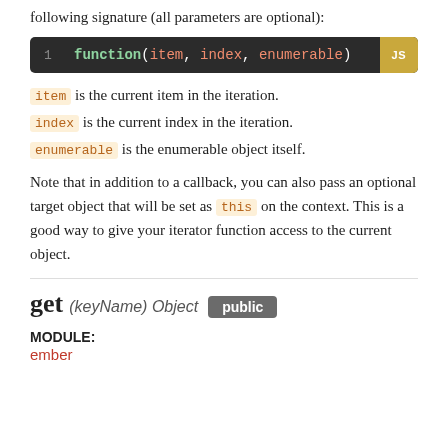following signature (all parameters are optional):
[Figure (screenshot): Code block on dark background showing: 1  function(item, index, enumerable) with JS badge]
item is the current item in the iteration.
index is the current index in the iteration.
enumerable is the enumerable object itself.
Note that in addition to a callback, you can also pass an optional target object that will be set as this on the context. This is a good way to give your iterator function access to the current object.
get (keyName) Object  public
MODULE:
ember